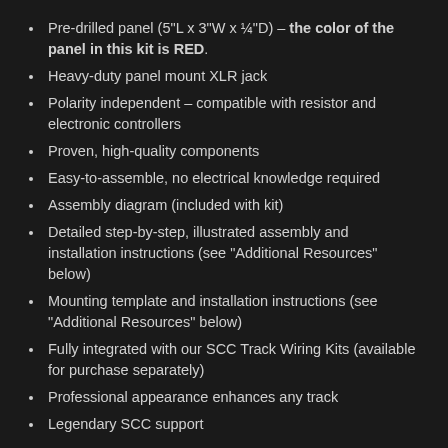Pre-drilled panel (5"L x 3"W x ¼"D) – the color of the panel in this kit is RED.
Heavy-duty panel mount XLR jack
Polarity independent – compatible with resistor and electronic controllers
Proven, high-quality components
Easy-to-assemble, no electrical knowledge required
Assembly diagram (included with kit)
Detailed step-by-step, illustrated assembly and installation instructions (see "Additional Resources" below)
Mounting template and installation instructions (see "Additional Resources" below)
Fully integrated with our SCC Track Wiring Kits (available for purchase separately)
Professional appearance enhances any track
Legendary SCC support